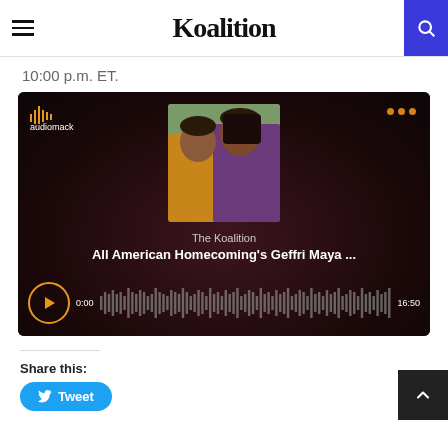Koalition
10:00 p.m. ET.
[Figure (screenshot): Audiomack embedded audio player with dark background showing 'The Koalition' podcast episode 'All American Homecoming's Geffri Maya ...' with play button, waveform visualization, timestamps 0:00 and 16:50, and photo of two women]
Share this:
Tweet